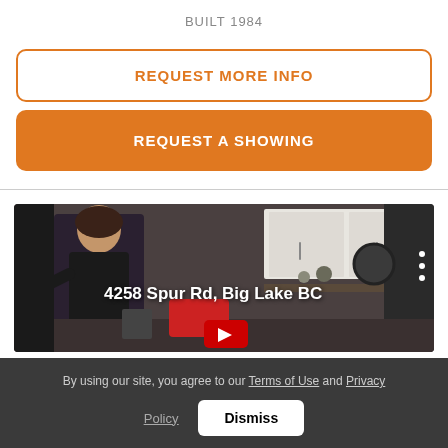BUILT 1984
REQUEST MORE INFO
REQUEST A SHOWING
[Figure (photo): Kitchen interior photo with a person in black outfit on the left, white cabinets, black refrigerator on right, red item on counter, with overlay text '4258 Spur Rd, Big Lake BC' and a YouTube play button at the bottom center.]
By using our site, you agree to our Terms of Use and Privacy Policy
Dismiss